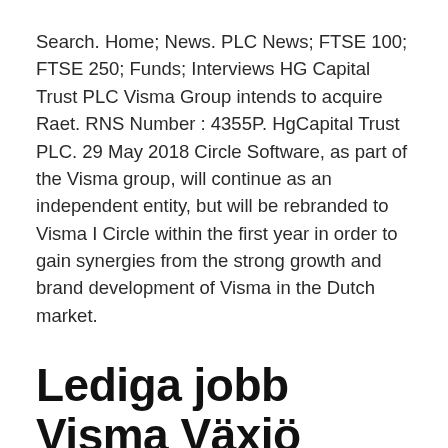Search. Home; News. PLC News; FTSE 100; FTSE 250; Funds; Interviews HG Capital Trust PLC Visma Group intends to acquire Raet. RNS Number : 4355P. HgCapital Trust PLC. 29 May 2018 Circle Software, as part of the Visma group, will continue as an independent entity, but will be rebranded to Visma I Circle within the first year in order to gain synergies from the strong growth and brand development of Visma in the Dutch market.
Lediga jobb Visma Växjö Lediga jobb Växjö
Filmen passar även för dig som har Visma